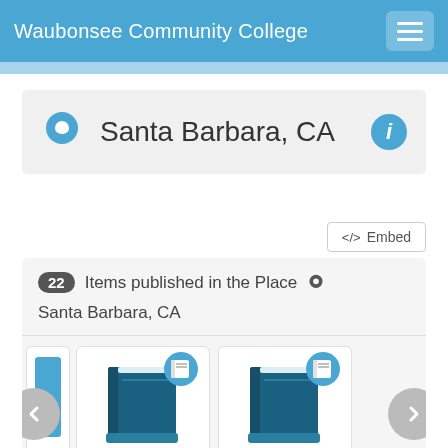Waubonsee Community College
Santa Barbara, CA
22 Items published in the Place Santa Barbara, CA
[Figure (screenshot): Two book item cards with blue book icons and a text label starting with 'America's gun' and 'American']
America's gun
American